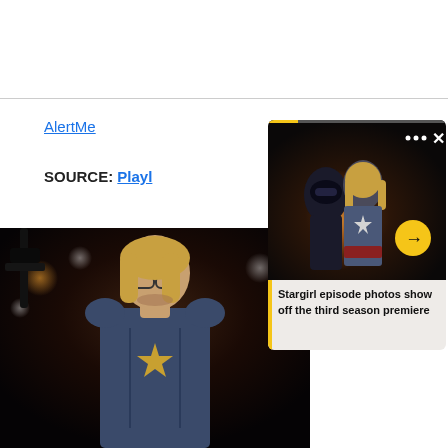AlertMe
SOURCE: Playl...
[Figure (screenshot): A screenshot of a media card showing two women in superhero/vigilante costumes in a dark scene, with navigation controls (three-dot menu, X close button), a yellow arrow button, a progress bar at top, and a caption overlay reading 'Stargirl episode photos show off the third season premiere']
[Figure (photo): A large partial photo of a woman in a blue Stargirl superhero costume with a golden star emblem, shown from chest up against a dark background with bokeh lights]